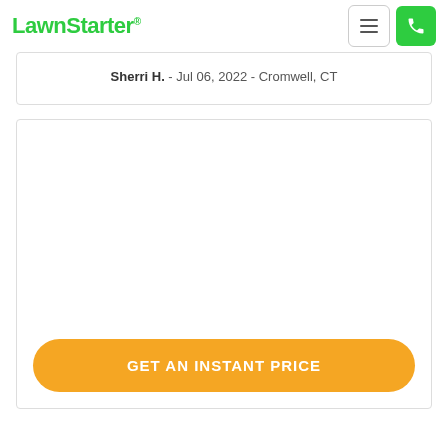LawnStarter®
Sherri H. - Jul 06, 2022 - Cromwell, CT
[Figure (other): GET AN INSTANT PRICE call-to-action card with orange rounded button]